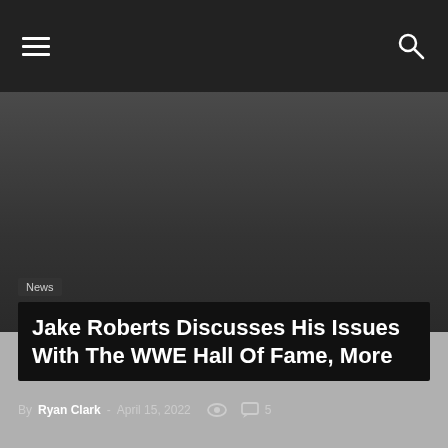☰  🔍
[Figure (photo): Dark hero/banner image area with gradient dark gray background]
News
Jake Roberts Discusses His Issues With The WWE Hall Of Fame, More
By Ryan Clark - April 15, 2022  👁  💬 5